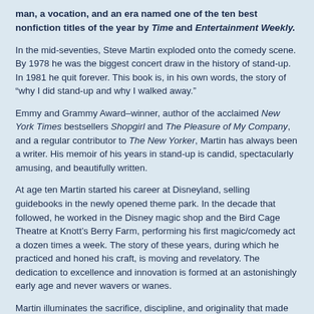man, a vocation, and an era named one of the ten best nonfiction titles of the year by Time and Entertainment Weekly.
In the mid-seventies, Steve Martin exploded onto the comedy scene. By 1978 he was the biggest concert draw in the history of stand-up. In 1981 he quit forever. This book is, in his own words, the story of “why I did stand-up and why I walked away.”
Emmy and Grammy Award–winner, author of the acclaimed New York Times bestsellers Shopgirl and The Pleasure of My Company, and a regular contributor to The New Yorker, Martin has always been a writer. His memoir of his years in stand-up is candid, spectacularly amusing, and beautifully written.
At age ten Martin started his career at Disneyland, selling guidebooks in the newly opened theme park. In the decade that followed, he worked in the Disney magic shop and the Bird Cage Theatre at Knott’s Berry Farm, performing his first magic/comedy act a dozen times a week. The story of these years, during which he practiced and honed his craft, is moving and revelatory. The dedication to excellence and innovation is formed at an astonishingly early age and never wavers or wanes.
Martin illuminates the sacrifice, discipline, and originality that made him an icon and informs his work to this day. To be this good, to perform so frequently, was isolating and lonely. It took Martin decades to reconnect